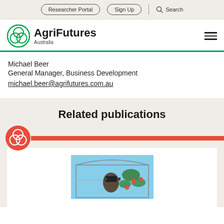Researcher Portal | Sign Up | Search
[Figure (logo): AgriFutures Australia logo with green circular icon and bold AgriFutures text]
Michael Beer
General Manager, Business Development
michael.beer@agrifutures.com.au
Related publications
[Figure (photo): Person wearing VR headset in a greenhouse with tomato plants]